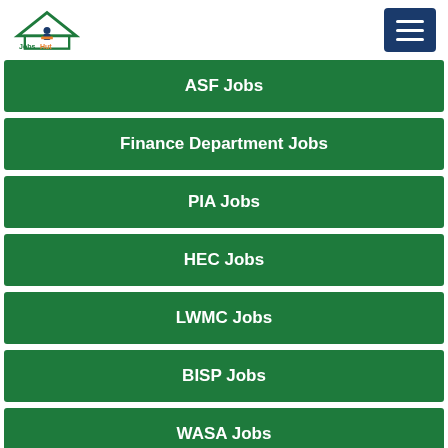Jobs Hut
ASF Jobs
Finance Department Jobs
PIA Jobs
HEC Jobs
LWMC Jobs
BISP Jobs
WASA Jobs
CTD Jobs